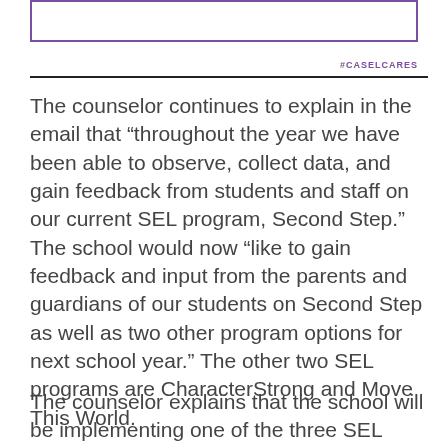[Figure (other): Empty purple-bordered rectangle at top of page]
#CASELCARES
The counselor continues to explain in the email that “throughout the year we have been able to observe, collect data, and gain feedback from students and staff on our current SEL program, Second Step.” The school would now “like to gain feedback and input from the parents and guardians of our students on Second Step as well as two other program options for next school year.” The other two SEL programs are CharacterStrong and Move This World.
The counselor explains that the school will be implementing one of the three SEL programs